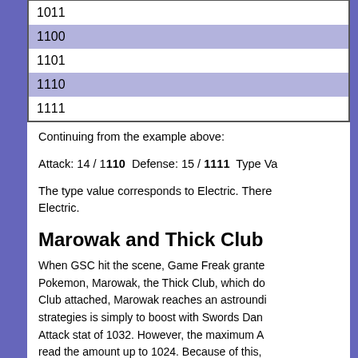| 1011 |
| 1100 |
| 1101 |
| 1110 |
| 1111 |
Continuing from the example above:
Attack: 14 / 1110 Defense: 15 / 1111 Type Va
The type value corresponds to Electric. There Electric.
Marowak and Thick Club
When GSC hit the scene, Game Freak grante Pokemon, Marowak, the Thick Club, which do Club attached, Marowak reaches an astroundi strategies is simply to boost with Swords Dan Attack stat of 1032. However, the maximum A read the amount up to 1024. Because of this, Marowak can use an Attack DV of 13, which w Dance.
Stat Exp. and How to Obtai